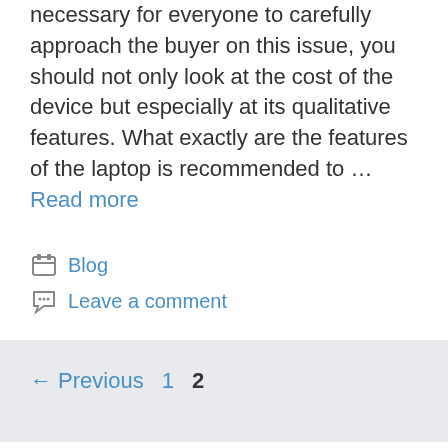necessary for everyone to carefully approach the buyer on this issue, you should not only look at the cost of the device but especially at its qualitative features. What exactly are the features of the laptop is recommended to … Read more
Blog
Leave a comment
← Previous 1 2
Recent Posts